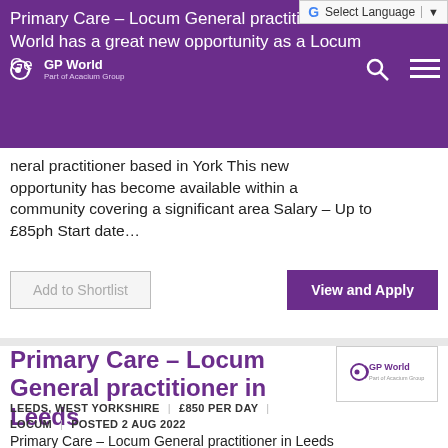GP World — navigation bar with logo, search, and menu icons
Primary Care – Locum General practitioner in York GP World has a great new opportunity as a Locum General practitioner based in York This new opportunity has become available within a community covering a significant area Salary – Up to £85ph Start date...
Add to Shortlist    View and Apply
Primary Care – Locum General practitioner in Leeds
LEEDS, WEST YORKSHIRE | £850 PER DAY | LOCUM | POSTED 2 AUG 2022
Primary Care – Locum General practitioner in Leeds